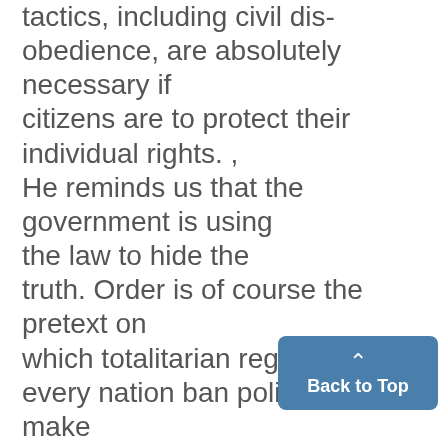tactics, including civil disobedience, are absolutely necessary if citizens are to protect their individual rights. , He reminds us that the government is using the law to hide the truth. Order is of course the pretext on which totalitarian regimes in every nation ban political parties, make secret arrests and censor newspapers. "Our government," he says, is " preserve a social peace which harbors drug addiction, alcoholism